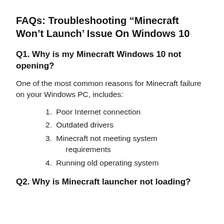FAQs: Troubleshooting “Minecraft Won’t Launch’ Issue On Windows 10
Q1. Why is my Minecraft Windows 10 not opening?
One of the most common reasons for Minecraft failure on your Windows PC, includes:
1. Poor Internet connection
2. Outdated drivers
3. Minecraft not meeting system requirements
4. Running old operating system
Q2. Why is Minecraft launcher not loading?